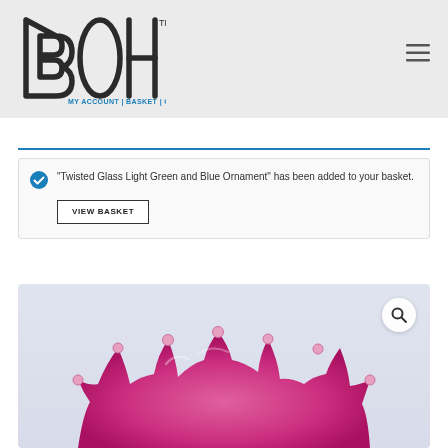[Figure (logo): BOHA logo in bold outline letters with TM mark]
MY ACCOUNT | BASKET | CONTACT
"Twisted Glass Light Green and Blue Ornament" has been added to your basket. VIEW BASKET
[Figure (photo): Pink/magenta glass crown-shaped ornament splash on light background]